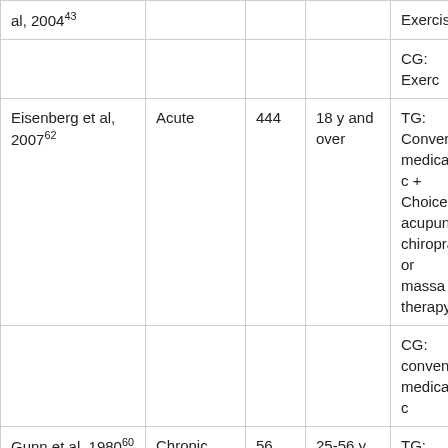| Author | Condition | N | Age | Intervention |
| --- | --- | --- | --- | --- |
| al, 2004²43 |  |  |  | Exercise |
|  |  |  |  | CG: Exerc… |
| Eisenberg et al, 2007²62 | Acute | 444 | 18 y and over | TG: Conventi… medical c… + Choice acupunct… chiroprac… or massa… therapy |
|  |  |  |  | CG: conventio… medical c… |
| Gunn et al, 1980²60 | Chronic | 56 | 25-56 y | TG: Acupunct… (dry need… + Conventi… medical… |